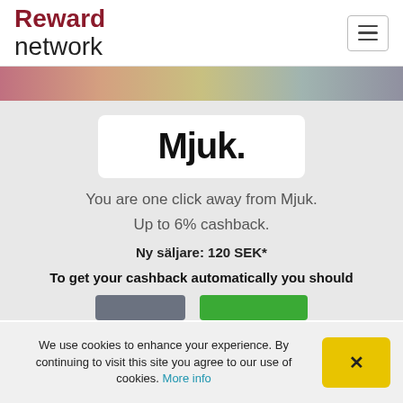Reward network
[Figure (screenshot): Reward Network website page showing Mjuk. brand logo card with cashback offer. Gradient banner below header. Card with Mjuk. logo, tagline 'You are one click away from Mjuk. Up to 6% cashback.', 'Ny säljare: 120 SEK*', 'To get your cashback automatically you should', two buttons (grey and green). Cookie banner at bottom.]
You are one click away from Mjuk.
Up to 6% cashback.
Ny säljare: 120 SEK*
To get your cashback automatically you should
We use cookies to enhance your experience. By continuing to visit this site you agree to our use of cookies. More info